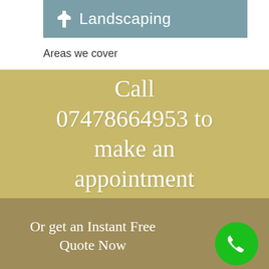Landscaping
Areas we cover
Call 07478664953 to make an appointment
Or get an Instant Free Quote Now